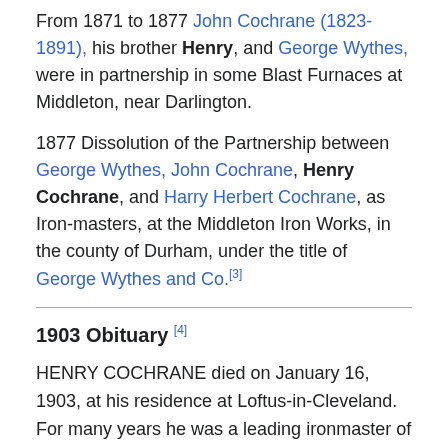From 1871 to 1877 John Cochrane (1823-1891), his brother Henry, and George Wythes, were in partnership in some Blast Furnaces at Middleton, near Darlington.
1877 Dissolution of the Partnership between George Wythes, John Cochrane, Henry Cochrane, and Harry Herbert Cochrane, as Iron-masters, at the Middleton Iron Works, in the county of Durham, under the title of George Wythes and Co.[3]
1903 Obituary [4]
HENRY COCHRANE died on January 16, 1903, at his residence at Loftus-in-Cleveland. For many years he was a leading ironmaster of Middlesbrough, where he settled in 1854, and became a member of the firm of George Withes & Co., of the Middlesbrough Ironworks, the Stanghow Mines, and the Victoria Colliery.
Subsequently he traded with Mr. Edmund Grove as